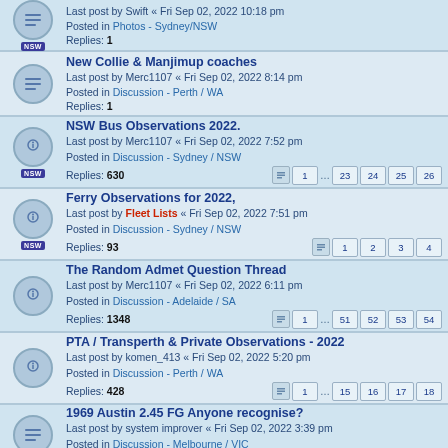Last post by Swift « Fri Sep 02, 2022 10:18 pm
Posted in Photos - Sydney/NSW
Replies: 1
New Collie & Manjimup coaches
Last post by Merc1107 « Fri Sep 02, 2022 8:14 pm
Posted in Discussion - Perth / WA
Replies: 1
NSW Bus Observations 2022.
Last post by Merc1107 « Fri Sep 02, 2022 7:52 pm
Posted in Discussion - Sydney / NSW
Replies: 630
Pages: 1 ... 23 24 25 26
Ferry Observations for 2022,
Last post by Fleet Lists « Fri Sep 02, 2022 7:51 pm
Posted in Discussion - Sydney / NSW
Replies: 93
Pages: 1 2 3 4
The Random Admet Question Thread
Last post by Merc1107 « Fri Sep 02, 2022 6:11 pm
Posted in Discussion - Adelaide / SA
Replies: 1348
Pages: 1 ... 51 52 53 54
PTA / Transperth & Private Observations - 2022
Last post by komen_413 « Fri Sep 02, 2022 5:20 pm
Posted in Discussion - Perth / WA
Replies: 428
Pages: 1 ... 15 16 17 18
1969 Austin 2.45 FG Anyone recognise?
Last post by system improver « Fri Sep 02, 2022 3:39 pm
Posted in Discussion - Melbourne / VIC
Replies: 2
Railway Observations for 2022...